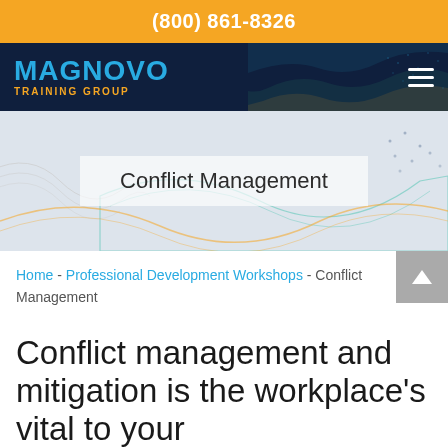(800) 861-8326
[Figure (logo): Magnovo Training Group logo with blue MAGNOVO text and orange TRAINING GROUP subtitle on dark navy background with decorative wave pattern]
Conflict Management
Home - Professional Development Workshops - Conflict Management
Conflict management and mitigation is the workplace's vital to your...